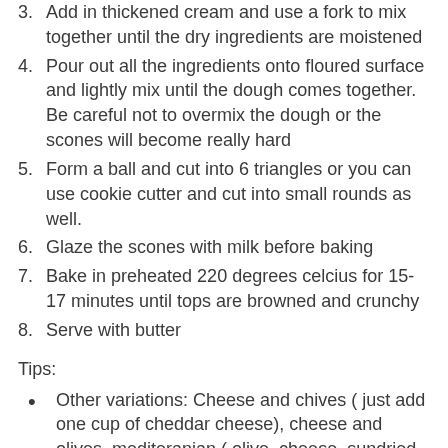3. Add in thickened cream and use a fork to mix together until the dry ingredients are moistened
4. Pour out all the ingredients onto floured surface and lightly mix until the dough comes together. Be careful not to overmix the dough or the scones will become really hard
5. Form a ball and cut into 6 triangles or you can use cookie cutter and cut into small rounds as well.
6. Glaze the scones with milk before baking
7. Bake in preheated 220 degrees celcius for 15-17 minutes until tops are browned and crunchy
8. Serve with butter
Tips:
Other variations: Cheese and chives ( just add one cup of cheddar cheese), cheese and olives, mediteranian ( olive, cheese, sundried tomatoes and bacon). Sweet scones: date and walnut, apricot and coconut ( use shredded coconut), etc etc. Just need to change the ingredients added and you can create a whole lot of different